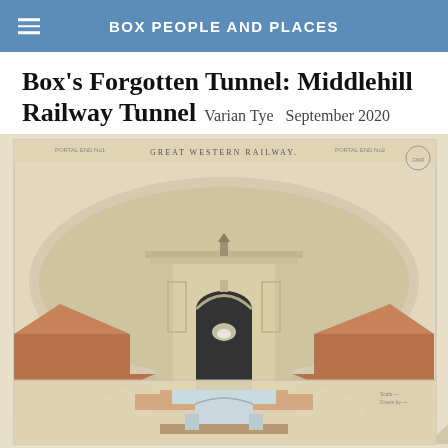BOX PEOPLE AND PLACES
Box's Forgotten Tunnel: Middlehill Railway Tunnel  Varian Tye  September 2020
[Figure (illustration): Watercolour engineering drawing of Middlehill Tunnel portal (Great Western Railway), showing the classical arched tunnel entrance with decorative stonework, flanked by earthwork cuttings. Below the elevation is a cross-sectional diagram of the tunnel structure. The drawing is on aged paper and labelled 'GREAT WESTERN RAILWAY' at the top.]
Watercolour of Middlehill Tunnel (courtesy Network Rail Corporate Archive)